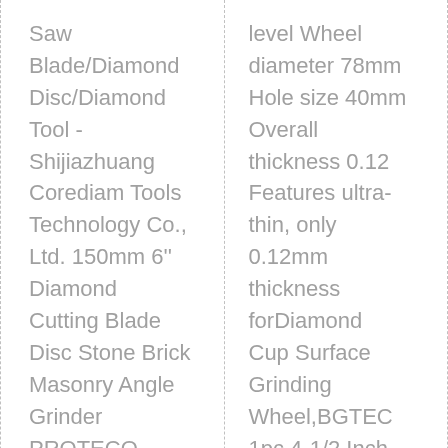| Column 1 | Column 2 |
| --- | --- |
| Saw Blade/Diamond Disc/Diamond Tool - Shijiazhuang Corediam Tools Technology Co., Ltd. 150mm 6'' Diamond Cutting Blade Disc Stone Brick Masonry Angle Grinder PROTECO £8.79 New Tile Saw Turbo Thin Diamond Dry | level Wheel diameter 78mm Hole size 40mm Overall thickness 0.12 Features ultra-thin, only 0.12mm thickness forDiamond Cup Surface Grinding Wheel,BGTEC 1pc 4-1/2 Inch Turbo Row Concrete Diamond |